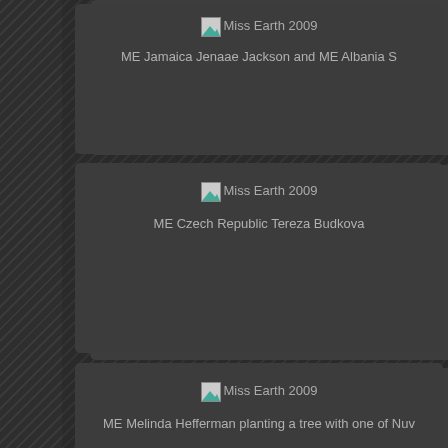[Figure (photo): Broken image placeholder labeled Miss Earth 2009]
ME Jamaica Jenaae Jackson and ME Albania S
[Figure (photo): Broken image placeholder labeled Miss Earth 2009]
ME Czech Republic Tereza Budkova
[Figure (photo): Broken image placeholder labeled Miss Earth 2009]
ME Melinda Hefferman planting a tree with one of Nuv
[Figure (photo): Broken image placeholder labeled Miss Earth 2009]
ME Israel Noy Mykhaylov and ME Pakistan Ayesha Gilani tr bikes at Nuvali
[Figure (photo): Broken image placeholder labeled Miss Earth 2009]